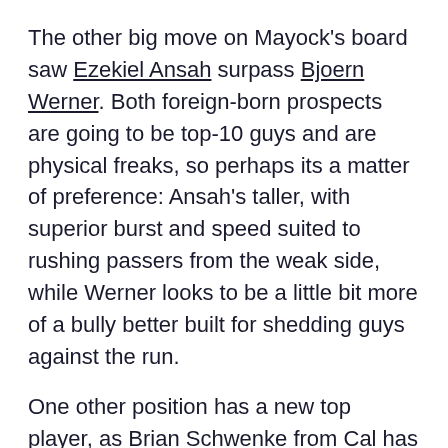The other big move on Mayock's board saw Ezekiel Ansah surpass Bjoern Werner. Both foreign-born prospects are going to be top-10 guys and are physical freaks, so perhaps its a matter of preference: Ansah's taller, with superior burst and speed suited to rushing passers from the weak side, while Werner looks to be a little bit more of a bully better built for shedding guys against the run.
One other position has a new top player, as Brian Schwenke from Cal has overtaken Travis Frederick of Wisconsin, who has fallen below Barrett Jones to No. 3.
A summary of what happened elsewhere. Mayock's whole rankings are here.